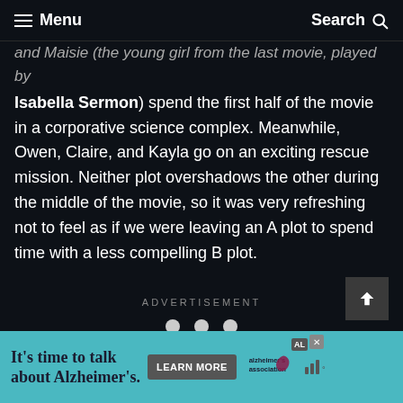Menu | Search
and Maisie (the young girl from the last movie, played by Isabella Sermon) spend the first half of the movie in a corporative science complex. Meanwhile, Owen, Claire, and Kayla go on an exciting rescue mission. Neither plot overshadows the other during the middle of the movie, so it was very refreshing not to feel as if we were leaving an A plot to spend time with a less compelling B plot.
ADVERTISEMENT
[Figure (other): Three dots pagination indicator]
[Figure (other): Back to top arrow button]
[Figure (other): Advertisement banner: It's time to talk about Alzheimer's. Learn More button. Alzheimer's Association logo.]